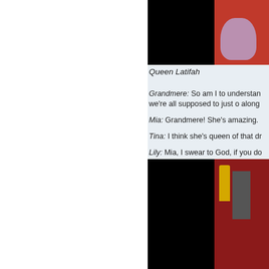[Figure (photo): Top photo showing Queen Latifah on a red carpet, partially cropped. Left portion is dark/black, right portion shows red carpet background with a light purple/lavender dress visible.]
Queen Latifah
Grandmere: So am I to understand we're all supposed to just o along
Mia: Grandmere! She's amazing.
Tina: I think she's queen of that dr
Lily: Mia, I swear to God, if you do gun and shoot you in the back of t
[Figure (photo): Bottom photo showing men in tuxedos at what appears to be an awards ceremony, with Oscar statues visible in the background against a dark red curtain.]